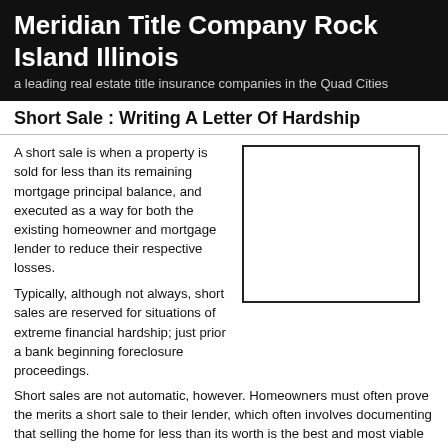Meridian Title Company Rock Island Illinois
a leading real estate title insurance companies in the Quad Cities
Short Sale : Writing A Letter Of Hardship
A short sale is when a property is sold for less than its remaining mortgage principal balance, and executed as a way for both the existing homeowner and mortgage lender to reduce their respective losses.
[Figure (other): Blank image placeholder box]
Typically, although not always, short sales are reserved for situations of extreme financial hardship; just prior a bank beginning foreclosure proceedings.
Short sales are not automatic, however. Homeowners must often prove the merits a short sale to their lender, which often involves documenting that selling the home for less than its worth is the best and most viable option for all parties involved.
The short sale process starts with a letter of hardship.